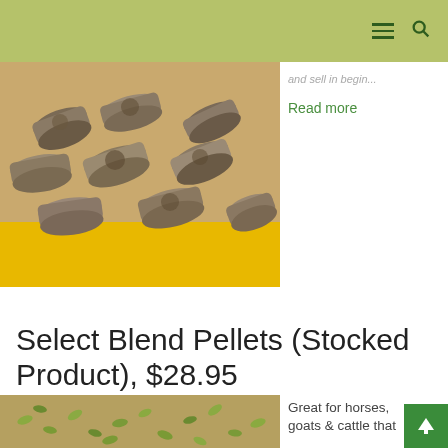Navigation header with menu and search icons
[Figure (photo): Close-up photo of cylindrical brown/grey pellets piled on a yellow surface]
and sell in begin... Read more
Select Blend Pellets (Stocked Product), $28.95
[Figure (photo): Close-up photo of small green/yellow pellets on a brown surface]
Great for horses, goats & cattle that